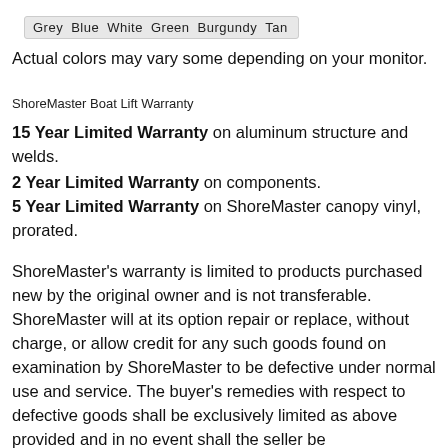Grey  Blue  White  Green  Burgundy  Tan
Actual colors may vary some depending on your monitor.
ShoreMaster Boat Lift Warranty
15 Year Limited Warranty on aluminum structure and welds.
2 Year Limited Warranty on components.
5 Year Limited Warranty on ShoreMaster canopy vinyl, prorated.
ShoreMaster's warranty is limited to products purchased new by the original owner and is not transferable. ShoreMaster will at its option repair or replace, without charge, or allow credit for any such goods found on examination by ShoreMaster to be defective under normal use and service. The buyer's remedies with respect to defective goods shall be exclusively limited as above provided and in no event shall the seller be